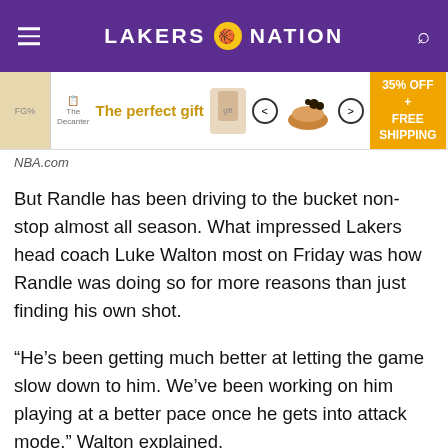LAKERS NATION
[Figure (screenshot): Advertisement banner: 'The perfect gift' with food bowl image and '35% OFF + FREE SHIPPING' promo]
NBA.com
But Randle has been driving to the bucket non-stop almost all season. What impressed Lakers head coach Luke Walton most on Friday was how Randle was doing so for more reasons than just finding his own shot.
“He’s been getting much better at letting the game slow down to him. We’ve been working on him playing at a better pace once he gets into attack mode,” Walton explained.